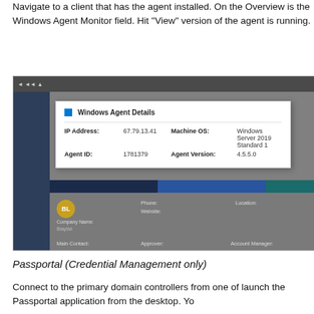Navigate to a client that has the agent installed. On the Overview is the Windows Agent Monitor field. Hit "View" version of the agent is running.
[Figure (screenshot): Screenshot of a software application showing a Windows Agent Details popup dialog with IP Address: 67.79.13.41, Agent ID: 1781379, Machine OS: Windows Server 2019 Standard, Agent Version: 4.5.5.0. Background shows a client overview page with navigation sidebar, colored header bars, company avatar (BL), Company Name field, Phone, Website, Location, Main Contact, Approver, Account Manager fields.]
Passportal (Credential Management only)
Connect to the primary domain controllers from one of launch the Passportal application from the desktop. Yo